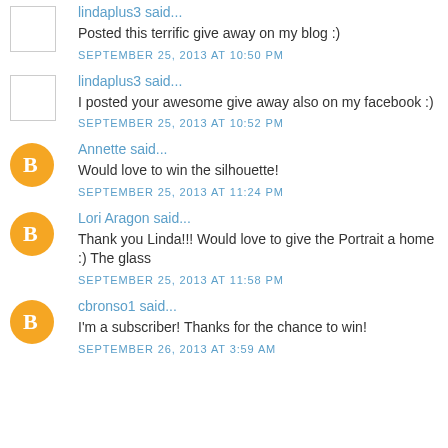lindaplus3 said...
Posted this terrific give away on my blog :)
SEPTEMBER 25, 2013 AT 10:50 PM
lindaplus3 said...
I posted your awesome give away also on my facebook :)
SEPTEMBER 25, 2013 AT 10:52 PM
Annette said...
Would love to win the silhouette!
SEPTEMBER 25, 2013 AT 11:24 PM
Lori Aragon said...
Thank you Linda!!! Would love to give the Portrait a home :) The glass
SEPTEMBER 25, 2013 AT 11:58 PM
cbronso1 said...
I'm a subscriber! Thanks for the chance to win!
SEPTEMBER 26, 2013 AT 3:59 AM